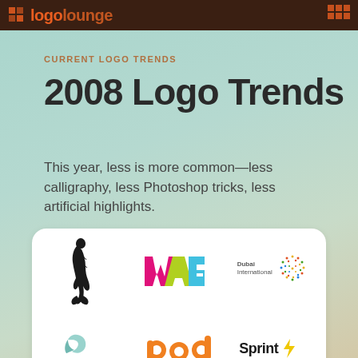logolounge
CURRENT LOGO TRENDS
2008 Logo Trends
This year, less is more common—less calligraphy, less Photoshop tricks, less artificial highlights.
[Figure (illustration): White rounded card containing six brand logos arranged in a 3x2 grid: mermaid silhouette, WAG (colorful angular letters), Dubai International (text with dotted globe), mediaflo (teal bird/leaf icon with text), pod (orange rounded letters), Sprint (black text with yellow lightning bolt)]